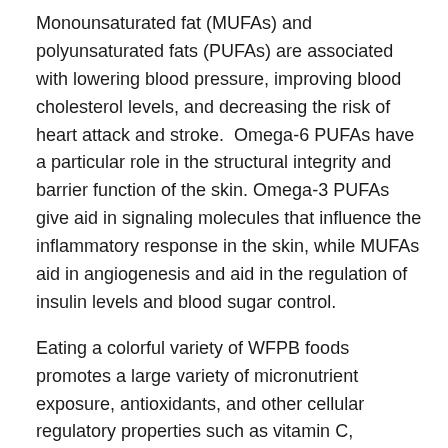Monounsaturated fat (MUFAs) and polyunsaturated fats (PUFAs) are associated with lowering blood pressure, improving blood cholesterol levels, and decreasing the risk of heart attack and stroke.  Omega-6 PUFAs have a particular role in the structural integrity and barrier function of the skin. Omega-3 PUFAs give aid in signaling molecules that influence the inflammatory response in the skin, while MUFAs aid in angiogenesis and aid in the regulation of insulin levels and blood sugar control.
Eating a colorful variety of WFPB foods promotes a large variety of micronutrient exposure, antioxidants, and other cellular regulatory properties such as vitamin C, calcium, iron, vitamin K, selenium, zinc, and healthy MUFAs & PUFAs. Nothing new here.
TIP #7: Got a fiber gap?
Currently, only 5% of the United States population meets the daily target of 25 grams of fiber for women and 38 grams of fiber for men. The benefits of prescribing a high fiber diet are